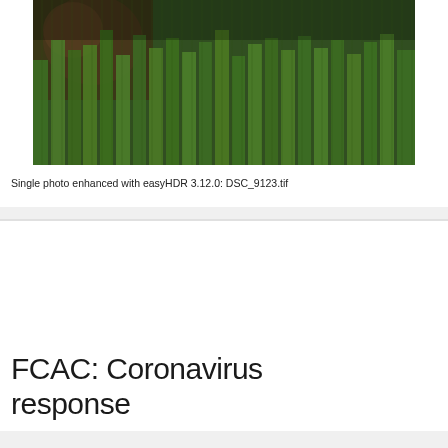[Figure (photo): Outdoor nature photo showing lush green ferns and foliage in the foreground with what appears to be a brown bear or animal partially visible in the upper left, taken in rain or mist. Enhanced with easyHDR software.]
Single photo enhanced with easyHDR 3.12.0: DSC_9123.tif
FCAC: Coronavirus response